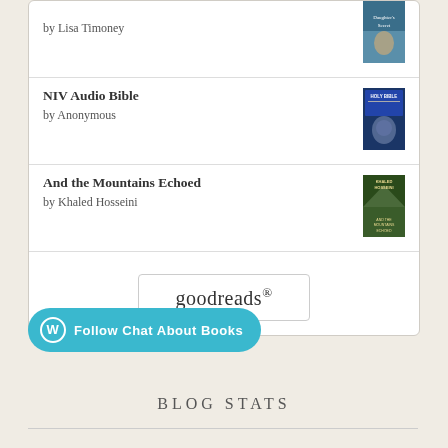by Lisa Timoney
NIV Audio Bible
by Anonymous
And the Mountains Echoed
by Khaled Hosseini
[Figure (logo): goodreads logo button with border]
Follow Chat About Books
BLOG STATS